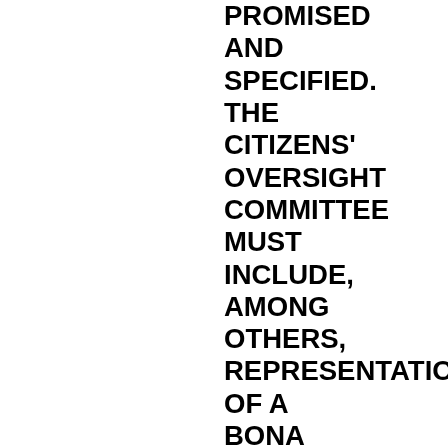PROMISED AND SPECIFIED. THE CITIZENS' OVERSIGHT COMMITTEE MUST INCLUDE, AMONG OTHERS, REPRESENTATION OF A BONA FIDE TAXPAYERS ASSOCIATION, A BUSINESS ORGANIZATION AND A SENIOR